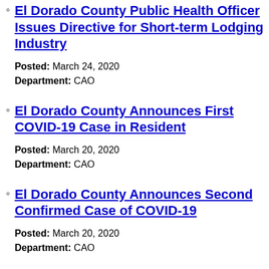El Dorado County Public Health Officer Issues Directive for Short-term Lodging Industry
Posted: March 24, 2020
Department: CAO
El Dorado County Announces First COVID-19 Case in Resident
Posted: March 20, 2020
Department: CAO
El Dorado County Announces Second Confirmed Case of COVID-19
Posted: March 20, 2020
Department: CAO